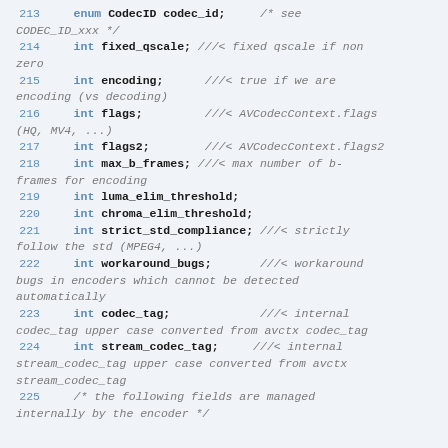213     enum CodecID codec_id;     /* see CODEC_ID_xxx */
214     int fixed_qscale;  ///< fixed qscale if non zero
215     int encoding;      ///< true if we are encoding (vs decoding)
216     int flags;         ///< AVCodecContext.flags (HQ, MV4, ...)
217     int flags2;        ///< AVCodecContext.flags2
218     int max_b_frames;  ///< max number of b-frames for encoding
219     int luma_elim_threshold;
220     int chroma_elim_threshold;
221     int strict_std_compliance;  ///< strictly follow the std (MPEG4, ...)
222     int workaround_bugs;        ///< workaround bugs in encoders which cannot be detected automatically
223     int codec_tag;              ///< internal codec_tag upper case converted from avctx codec_tag
224     int stream_codec_tag;       ///< internal stream_codec_tag upper case converted from avctx stream_codec_tag
225     /* the following fields are managed internally by the encoder */